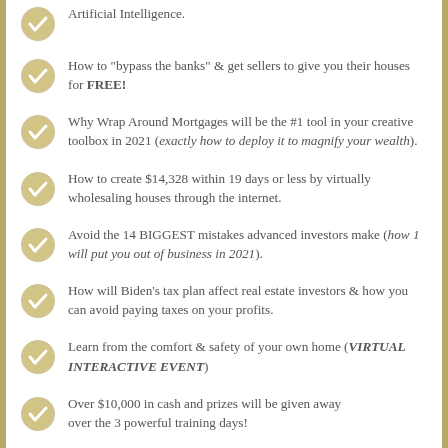Artificial Intelligence.
How to "bypass the banks" & get sellers to give you their houses for FREE!
Why Wrap Around Mortgages will be the #1 tool in your creative toolbox in 2021 (exactly how to deploy it to magnify your wealth).
How to create $14,328 within 19 days or less by virtually wholesaling houses through the internet.
Avoid the 14 BIGGEST mistakes advanced investors make (how 1 will put you out of business in 2021).
How will Biden's tax plan affect real estate investors & how you can avoid paying taxes on your profits.
Learn from the comfort & safety of your own home (VIRTUAL INTERACTIVE EVENT)
Over $10,000 in cash and prizes will be given away over the 3 powerful training days!